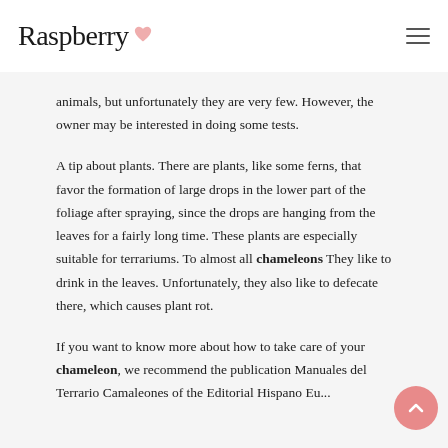Raspberry
animals, but unfortunately they are very few. However, the owner may be interested in doing some tests.
A tip about plants. There are plants, like some ferns, that favor the formation of large drops in the lower part of the foliage after spraying, since the drops are hanging from the leaves for a fairly long time. These plants are especially suitable for terrariums. To almost all chameleons They like to drink in the leaves. Unfortunately, they also like to defecate there, which causes plant rot.
If you want to know more about how to take care of your chameleon, we recommend the publication Manuales del Terrario Camaleones of the Editorial Hispano Europea...